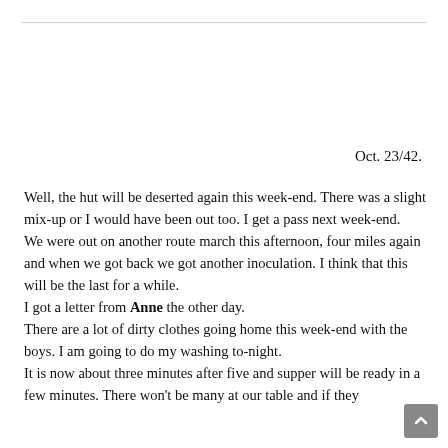Oct. 23/42.
Well, the hut will be deserted again this week-end. There was a slight mix-up or I would have been out too. I get a pass next week-end.
We were out on another route march this afternoon, four miles again and when we got back we got another inoculation. I think that this will be the last for a while.
I got a letter from Anne the other day.
There are a lot of dirty clothes going home this week-end with the boys. I am going to do my washing to-night.
It is now about three minutes after five and supper will be ready in a few minutes. There won't be many at our table and if they